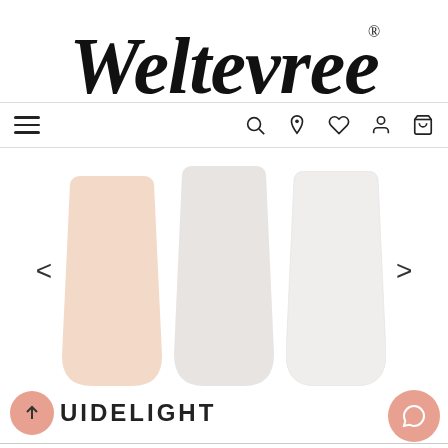[Figure (logo): Weltevree brand logo in large italic serif script with registered trademark symbol]
[Figure (screenshot): Navigation bar with hamburger menu on left and icons (search, location, heart, person, cart) on right]
[Figure (photo): Product carousel showing three cup/vase shaped objects in peach, light grey, and white colors with left and right navigation arrows]
GUIDELIGHT
This website uses cookies to ensure the best experience possible.
More information...
Deny
Configure
Accept all coo...